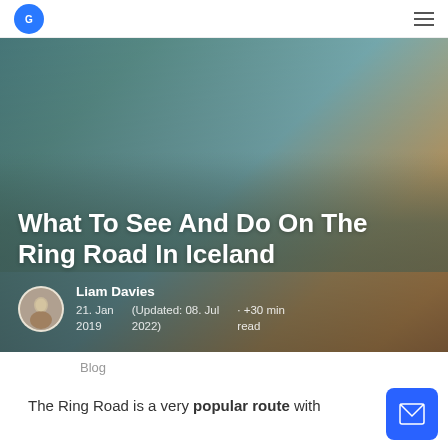Navigation bar with logo and menu
[Figure (photo): Hero banner image of Iceland's Ring Road landscape with misty geothermal or coastal scenery, teal and warm orange tones]
What To See And Do On The Ring Road In Iceland
Liam Davies
21. Jan 2019 · (Updated: 08. Jul 2022) · +30 min read
Blog
The Ring Road is a very popular route with